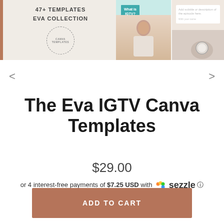[Figure (screenshot): Product image strip showing three panels: left panel with '47+ TEMPLATES EVA COLLECTION' text and a stamp/watermark circle, middle panel showing a woman's portrait with a teal badge, right panel showing a wrist with a watch and a card overlay.]
The Eva IGTV Canva Templates
$29.00
or 4 interest-free payments of $7.25 USD with Sezzle
ADD TO CART